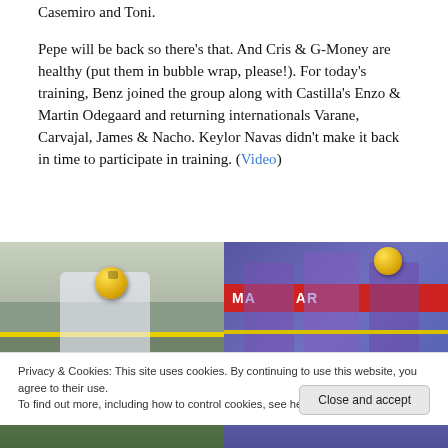Casemiro and Toni.
Pepe will be back so there's that. And Cris & G-Money are healthy (put them in bubble wrap, please!). For today's training, Benz joined the group along with Castilla's Enzo & Martin Odegaard and returning internationals Varane, Carvajal, James & Nacho. Keylor Navas didn't make it back in time to participate in training. (Video)
[Figure (photo): Two training photos side by side: left shows a player in white kit juggling a soccer ball; right shows players in purple kit during training with a sponsor board in background]
Privacy & Cookies: This site uses cookies. By continuing to use this website, you agree to their use.
To find out more, including how to control cookies, see here: Cookie Policy
[Figure (photo): Two more training photos side by side at the bottom of the page, partially visible]